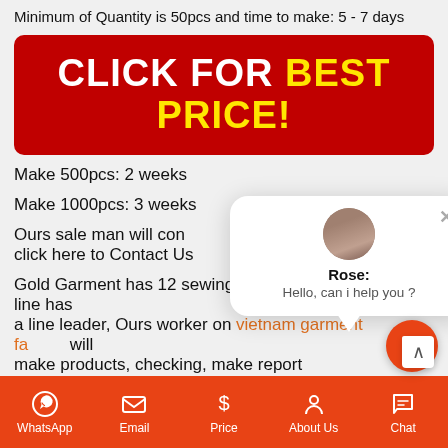Minimum of Quantity is 50pcs and time to make: 5 - 7 days
[Figure (infographic): Red banner button with text CLICK FOR BEST PRICE! in white and yellow bold text]
Make 500pcs: 2 weeks
Make 1000pcs: 3 weeks
Ours sale man will contact you, lets click here to Contact Us
Gold Garment has 12 sewing lines and each sewing line has a line leader, Ours worker on vietnam garment factory will make products, checking, make report
[Figure (screenshot): Chat popup with avatar of Rose saying Hello, can i help you?]
WhatsApp  Email  Price  About Us  Chat